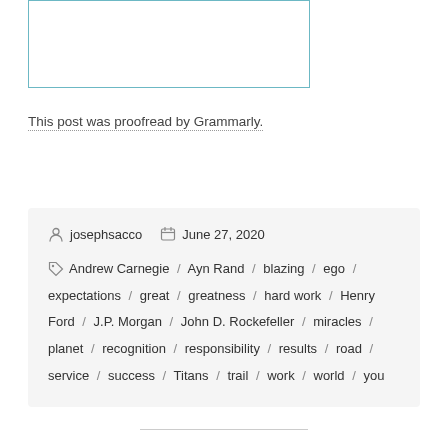[Figure (other): Input/text box with teal border, empty white interior]
This post was proofread by Grammarly.
josephsacco  June 27, 2020
Andrew Carnegie / Ayn Rand / blazing / ego / expectations / great / greatness / hard work / Henry Ford / J.P. Morgan / John D. Rockefeller / miracles / planet / recognition / responsibility / results / road / service / success / Titans / trail / work / world / you